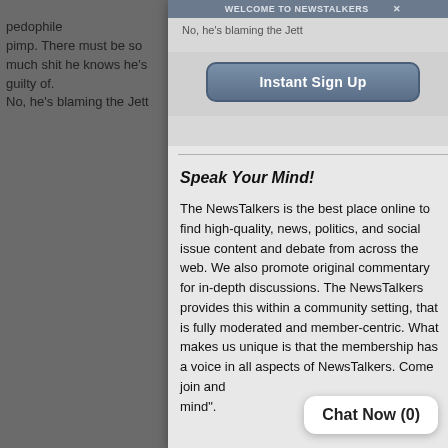...pedophile pimp. There must be so much shit he knows he's guilty of. No, he's blaming the Jett
[Figure (photo): Right side photo of a person wearing dark clothing with a blue circular emblem/badge, dark background]
Welcome to NewsTalkers
Instant Sign Up
Speak Your Mind!
The NewsTalkers is the best place online to find high-quality, news, politics, and social issue content and debate from across the web. We also promote original commentary for in-depth discussions. The NewsTalkers provides this within a community setting, that is fully moderated and member-centric. What makes us unique is that the membership has a voice in all aspects of NewsTalkers. Come join and ... mind".
Chat Now (0)